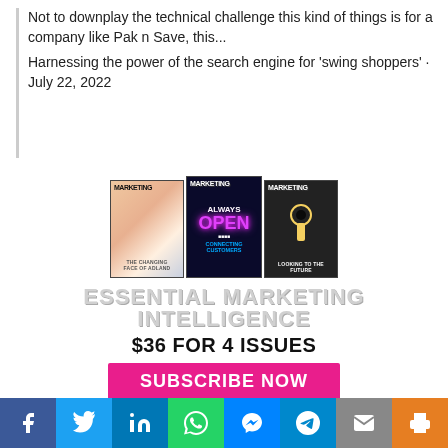Not to downplay the technical challenge this kind of things is for a company like Pak n Save, this...
Harnessing the power of the search engine for ‘swing shoppers’ · July 22, 2022
[Figure (illustration): Advertisement for Marketing magazine showing three magazine covers with text 'ESSENTIAL MARKETING INTELLIGENCE', '$36 FOR 4 ISSUES', and a pink 'SUBSCRIBE NOW' button. Covers show: 'THE CHANGING FACE OF ADLAND', 'ALWAYS OPEN CONNECTING CUSTOMERS', 'LOOKING TO THE FUTURE'.]
[Figure (infographic): Social media sharing bar with icons for Facebook, Twitter, LinkedIn, WhatsApp, Messenger, Telegram, Email, and Print on colored backgrounds.]